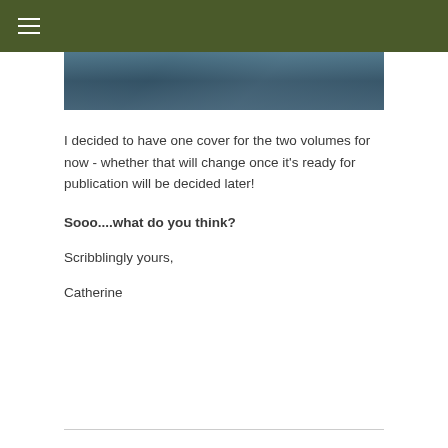[Figure (screenshot): Dark olive green navigation header bar with a hamburger menu icon (three white horizontal lines) on the left side]
[Figure (photo): A partial image strip showing what appears to be a landscape or nature photograph in blue-grey tones]
I decided to have one cover for the two volumes for now - whether that will change once it's ready for publication will be decided later!
Sooo....what do you think?
Scribblingly yours,
Catherine